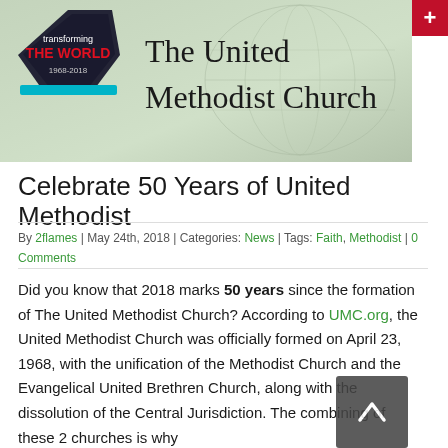[Figure (illustration): Banner for The United Methodist Church website showing a pentagon/shield logo with 'transforming THE WORLD 1968-2018' text on the left and large text 'The United Methodist Church' on a muted green world map background. A red '+' button appears in the top-right corner.]
Celebrate 50 Years of United Methodist
By 2flames | May 24th, 2018 | Categories: News | Tags: Faith, Methodist | 0 Comments
Did you know that 2018 marks 50 years since the formation of The United Methodist Church? According to UMC.org, the United Methodist Church was officially formed on April 23, 1968, with the unification of the Methodist Church and the Evangelical United Brethren Church, along with the dissolution of the Central Jurisdiction. The combining of these 2 churches is why